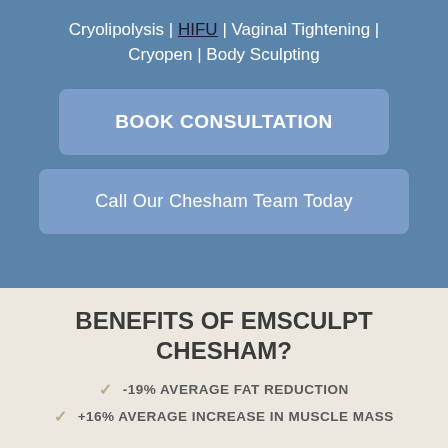Cryolipolysis | HIFU | Vaginal Tightening | Cryopen | Body Sculpting
BOOK CONSULTATION
Call Our Chesham Team Today
BENEFITS OF EMSCULPT CHESHAM?
-19% AVERAGE FAT REDUCTION
+16% AVERAGE INCREASE IN MUSCLE MASS